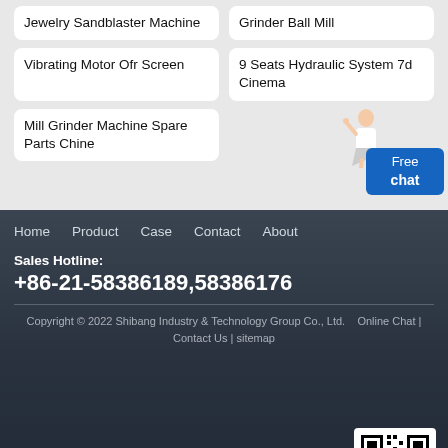Jewelry Sandblaster Machine
Grinder Ball Mill
Vibrating Motor Ofr Screen
9 Seats Hydraulic System 7d Cinema
Mill Grinder Machine Spare Parts Chine
[Figure (other): Free chat button with female character illustration]
Home  Product  Case  Contact  About
[Figure (other): QR code for website]
Sales Hotline: +86-21-58386189,58386176
Copyright © 2022 Shibang Industry & Technology Group Co., Ltd.  Online Chat | Contact Us | sitemap